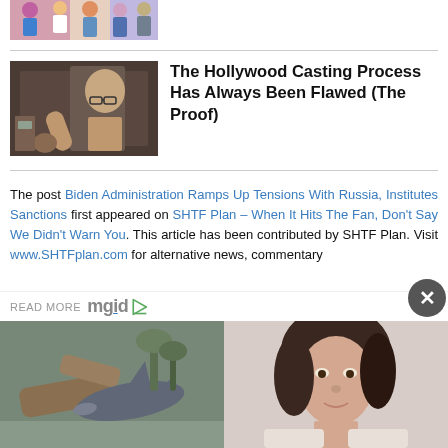[Figure (photo): Cropped photo of group of young women in colorful crop tops and jeans]
[Figure (photo): Photo of older bald man without shirt, from mirror selfie]
The Hollywood Casting Process Has Always Been Flawed (The Proof)
The post Biden Administration Ramps Up Tensions With Russia, Institutes Sanctions first appeared on SHTF Plan – When It Hits The Fan, Don't Say We Didn't Warn You. This article has been contributed by SHTF Plan. Visit www.SHTFplan.com for alternative news, commentary
READ MORE
[Figure (photo): Photo of shark toy/figurine on driftwood]
[Figure (photo): Photo of young woman with dark hair]